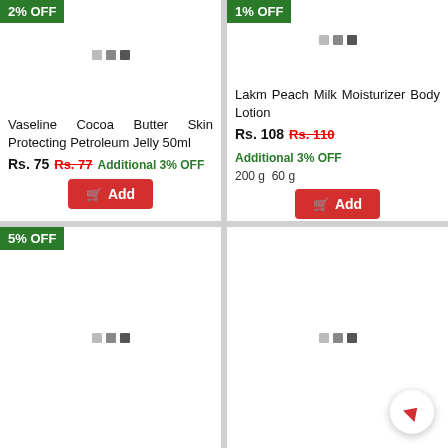[Figure (other): Product card: Vaseline Cocoa Butter, badge 2% OFF, image placeholder dots]
Vaseline Cocoa Butter Skin Protecting Petroleum Jelly 50ml
Rs. 75  Rs. 77  Additional 3% OFF
Add
[Figure (other): Product card: Lakme Peach Milk Moisturizer Body Lotion, badge 1% OFF, image placeholder dots]
Lakm Peach Milk Moisturizer Body Lotion
Rs. 108  Rs. 110  Additional 3% OFF
200 g  60 g
Add
[Figure (other): Product card: 5% OFF badge, image placeholder dots, bottom left]
[Figure (other): Product card: no badge, image placeholder dots, bottom right]